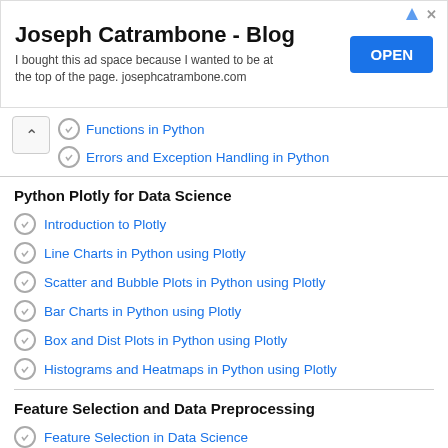[Figure (other): Advertisement banner for Joseph Catrambone Blog with OPEN button]
Functions in Python
Errors and Exception Handling in Python
Python Plotly for Data Science
Introduction to Plotly
Line Charts in Python using Plotly
Scatter and Bubble Plots in Python using Plotly
Bar Charts in Python using Plotly
Box and Dist Plots in Python using Plotly
Histograms and Heatmaps in Python using Plotly
Feature Selection and Data Preprocessing
Feature Selection in Data Science
Feature Selection Case Study
Data Preprocessing in Data Science